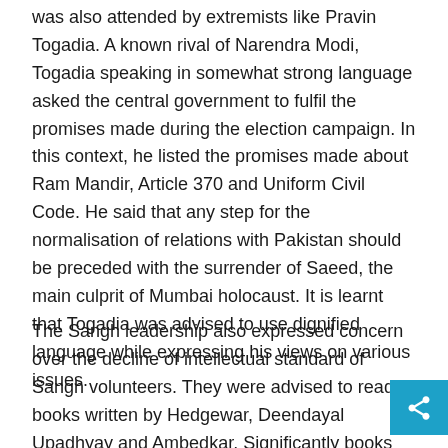was also attended by extremists like Pravin Togadia. A known rival of Narendra Modi, Togadia speaking in somewhat strong language asked the central government to fulfil the promises made during the election campaign. In this context, he listed the promises made about Ram Mandir, Article 370 and Uniform Civil Code. He said that any step for the normalisation of relations with Pakistan should be preceded with the surrender of Saeed, the main culprit of Mumbai holocaust. It is learnt that Togadia was advised to use dignified language while expressing his views on various issues.
The Sangh leadership also expressed concern over the decline of intellectual standard of Sangh volunteers. They were advised to read books written by Hedgewar, Deendayal Upadhyay and Ambedkar. Significantly books by second Sarsanghchalak, M S Golwalkar (guru ji) were not included in the list. Before the commencement of the Bhopal conclave it was speculated that Narendra Modi, Amit Shah and Chief